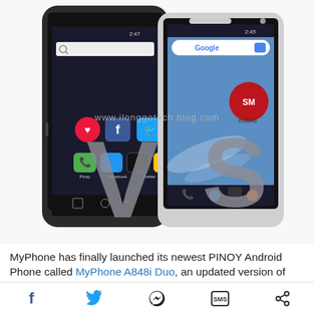[Figure (photo): Two Android smartphones side-by-side with a large 'VS' overlay text. Left phone shows a MyPhone Android device with app icons visible. Right phone shows another Android device with Google search bar and SM Mobile branding. Watermark text reads www.ilonggotech blog.com]
MyPhone has finally launched its newest PINOY Android Phone called MyPhone A848i Duo, an updated version of
Social sharing bar with icons: Facebook, Twitter, Messenger, SMS, Share